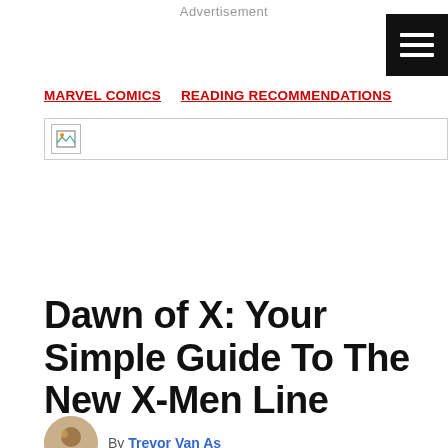Advertisement
MARVEL COMICS   READING RECOMMENDATIONS
[Figure (other): Broken image placeholder icon]
Dawn of X: Your Simple Guide To The New X-Men Line
By Trevor Van As